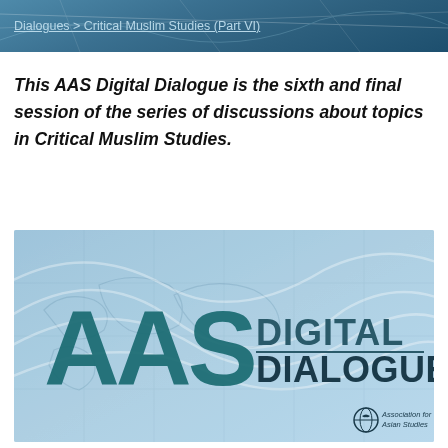Dialogues > Critical Muslim Studies (Part VI)
This AAS Digital Dialogue is the sixth and final session of the series of discussions about topics in Critical Muslim Studies.
[Figure (logo): AAS Digital Dialogues logo on a light blue background with abstract world map and wave patterns. Large teal 'AAS' letters on the left, 'DIGITAL DIALOGUES' in dark teal/navy on the right. Bottom right shows 'Association for Asian Studies' with a small globe icon.]